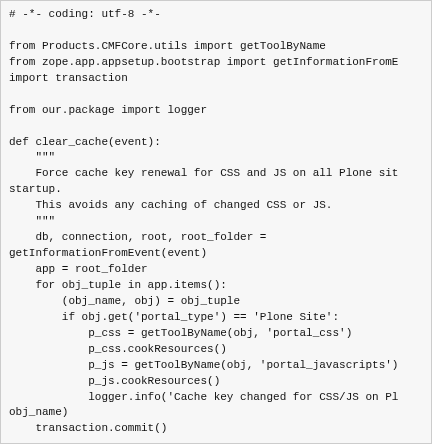[Figure (screenshot): Python code block showing clear_cache function with imports and logic for flushing CSS/JS cache on Plone sites]
And voilà, no more browser cache flush hassle for our customer and their H
If you have any thoughts on this, or think that this should be packaged in a c